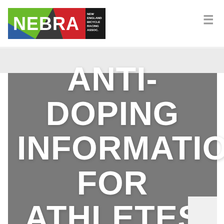[Figure (logo): NEBRA - New England Bicycle Racing Association logo with colorful geometric shapes and black rectangle with white text]
ANTI-DOPING INFORMATION FOR ATHLETES